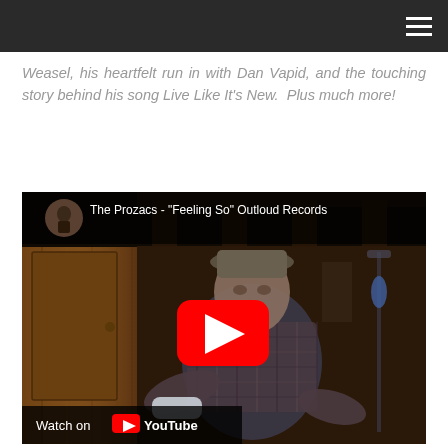navigation bar with hamburger menu
Weasel, his heartfelt run in with Dan Vapid, and the touching story behind his song Live Like It's New.  Plus much more!
[Figure (screenshot): YouTube video embed showing The Prozacs - "Feeling So" Outloud Records, with a man in a plaid shirt in a basement/wood-paneled room, red YouTube play button in center, and Watch on YouTube bar at bottom left.]